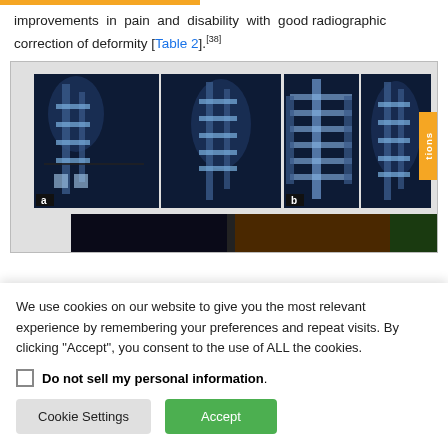improvements in pain and disability with good radiographic correction of deformity [Table 2].[38]
[Figure (photo): Medical X-ray images showing spinal hardware (screws and rods) from multiple angles, labeled a and b, with a clinical photograph below showing the operative site.]
We use cookies on our website to give you the most relevant experience by remembering your preferences and repeat visits. By clicking "Accept", you consent to the use of ALL the cookies.
Do not sell my personal information.
Cookie Settings  Accept